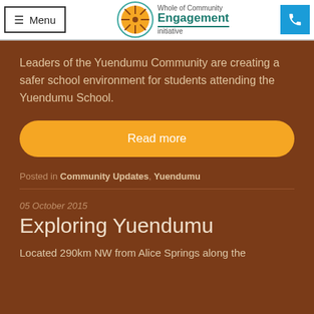≡ Menu | Whole of Community Engagement Initiative
Leaders of the Yuendumu Community are creating a safer school environment for students attending the Yuendumu School.
Read more
Posted in Community Updates, Yuendumu
05 October 2015
Exploring Yuendumu
Located 290km NW from Alice Springs along the